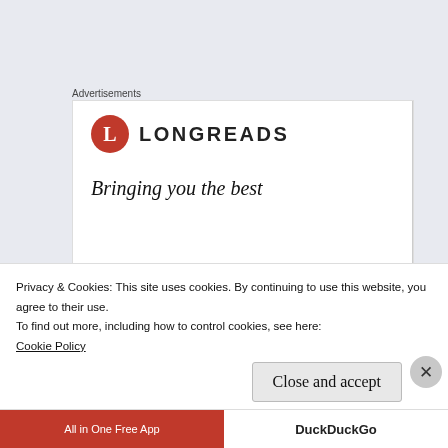Advertisements
[Figure (logo): Longreads advertisement box with red circular L logo, LONGREADS text, and tagline 'Bringing you the best']
“Nature deficit disorder” is a modern affliction. With more people living in cities, working in high-rise office buildings, and becoming
Privacy & Cookies: This site uses cookies. By continuing to use this website, you agree to their use.
To find out more, including how to control cookies, see here:
Cookie Policy
Close and accept